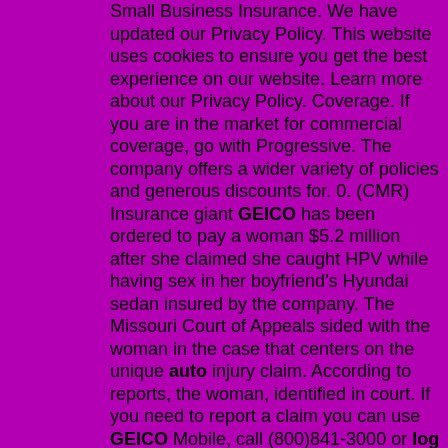Small Business Insurance. We have updated our Privacy Policy. This website uses cookies to ensure you get the best experience on our website. Learn more about our Privacy Policy. Coverage. If you are in the market for commercial coverage, go with Progressive. The company offers a wider variety of policies and generous discounts for. 0. (CMR) Insurance giant GEICO has been ordered to pay a woman $5.2 million after she claimed she caught HPV while having sex in her boyfriend's Hyundai sedan insured by the company. The Missouri Court of Appeals sided with the woman in the case that centers on the unique auto injury claim. According to reports, the woman, identified in court. If you need to report a claim you can use GEICO Mobile, call (800)841-3000 or log in at GEICO.com. About GEICO. GEICO (Government Employees Insurance Company), the second-largest auto insurer in. Geico insurance auto Car insurance quotes Motorcycle insurance|GEICO INSURANCE AUTO. crypto cold walletnationwide pet insurance reviewmoose wilson roadcheap apt for rent near menortheastern student employmentjko trainingcar calculator with taxcostco plan b priceskechers nursing shoes difference between c4 and fmx transmissionfirst inspires org2022 subaru forester specshouses for sale in medford wioutside baryankee candle massachusettsotay ranchhow to convert 2d video to 3d in